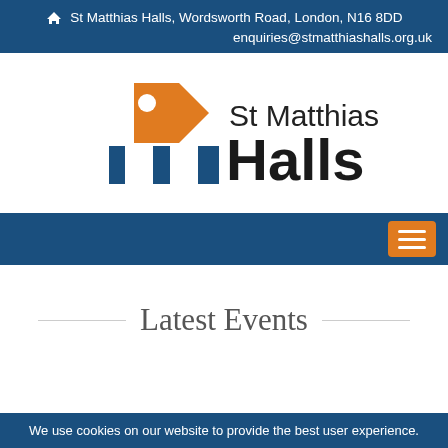🏠 St Matthias Halls, Wordsworth Road, London, N16 8DD
enquiries@stmatthiashalls.org.uk
[Figure (logo): St Matthias Halls logo: orange house/tag shape icon with blue building silhouette, next to text 'St Matthias Halls' in dark sans-serif font]
[Figure (screenshot): Dark blue navigation bar with orange hamburger menu button on the right]
Latest Events
We use cookies on our website to provide the best user experience.